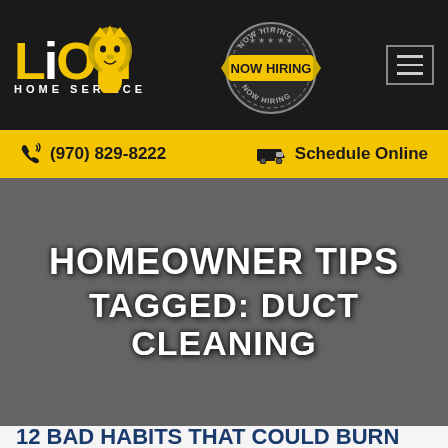[Figure (logo): Lion Home Service logo with yellow LION text and lion silhouette on dark background]
[Figure (logo): Now Hiring badge/seal with yellow banner ribbon, circular stamp design]
[Figure (illustration): Hamburger menu icon (three horizontal lines in a gray bordered box)]
(970) 829-8222
Schedule Online
[Figure (photo): Newspaper pages background image in grayscale, blurred]
HOMEOWNER TIPS TAGGED: DUCT CLEANING
12 BAD HABITS THAT COULD BURN